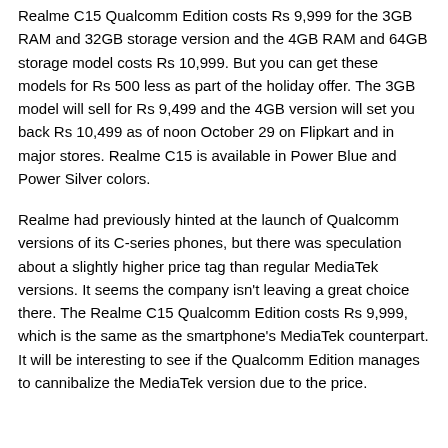Realme C15 Qualcomm Edition costs Rs 9,999 for the 3GB RAM and 32GB storage version and the 4GB RAM and 64GB storage model costs Rs 10,999. But you can get these models for Rs 500 less as part of the holiday offer. The 3GB model will sell for Rs 9,499 and the 4GB version will set you back Rs 10,499 as of noon October 29 on Flipkart and in major stores. Realme C15 is available in Power Blue and Power Silver colors.
Realme had previously hinted at the launch of Qualcomm versions of its C-series phones, but there was speculation about a slightly higher price tag than regular MediaTek versions. It seems the company isn't leaving a great choice there. The Realme C15 Qualcomm Edition costs Rs 9,999, which is the same as the smartphone's MediaTek counterpart. It will be interesting to see if the Qualcomm Edition manages to cannibalize the MediaTek version due to the price.